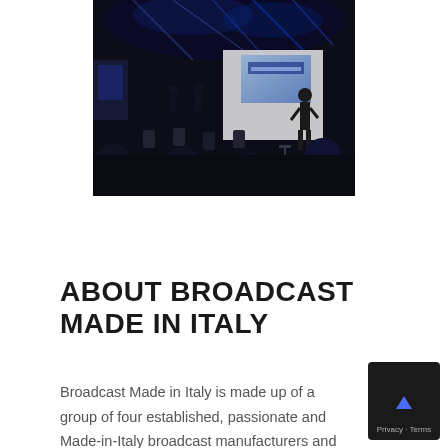[Figure (photo): Dark event hall or conference venue with people seated in the foreground watching a presenter on a stage. Blue ambient lighting and display screens visible in the background. The scene appears to be a broadcast or technology trade show.]
ABOUT BROADCAST MADE IN ITALY
Broadcast Made in Italy is made up of a group of four established, passionate and Made-in-Italy broadcast manufacturers and